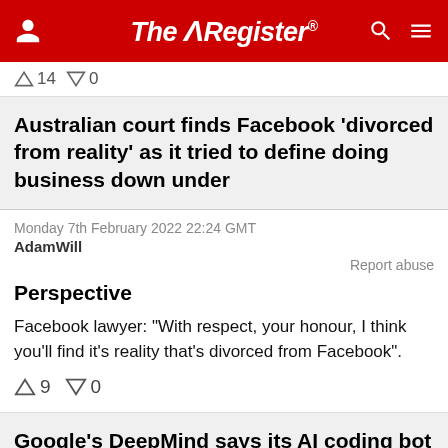The Register
↑14 ↓0
Australian court finds Facebook 'divorced from reality' as it tried to define doing business down under
Monday 7th February 2022 22:24 GMT
AdamWill
Report abuse
Perspective
Facebook lawyer: "With respect, your honour, I think you'll find it's reality that's divorced from Facebook".
↑9 ↓0
Google's DeepMind says its AI coding bot is 'competitive' with humans